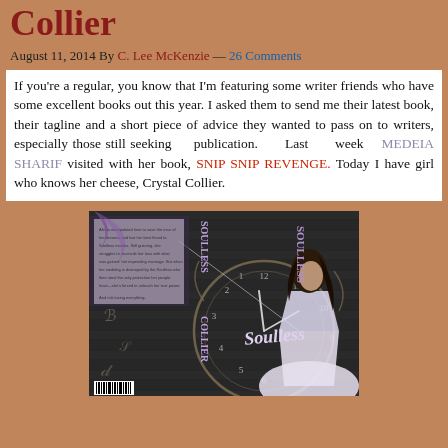Collier
August 11, 2014 By C. Lee McKenzie — 26 Comments
If you're a regular, you know that I'm featuring some writer friends who have some excellent books out this year. I asked them to send me their latest book, their tagline and a short piece of advice they wanted to pass on to writers, especially those still seeking publication. Last week MEDEIA SHARIF visited with her book, SNIP SNIP REVENGE. Today I have girl who knows her cheese, Crystal Collier.
[Figure (photo): Book cover of 'Soulless' by Collier, showing a woman in a white dress with a clock in the background.]